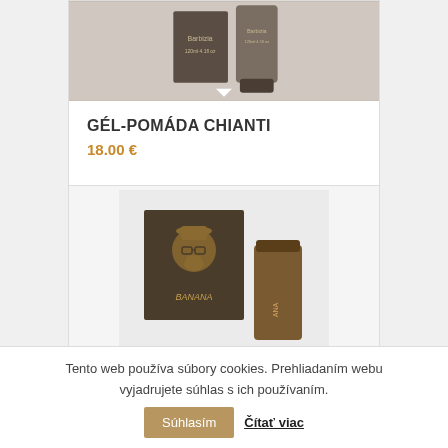[Figure (photo): Product image of Gél-Pomáda Chianti hair product bottles]
GÉL-POMÁDA CHIANTI
18.00 €
Pridať do košíka   Zobraziť detaily
[Figure (photo): Second product image showing a dark brown box with a gentleman logo and a brown tube/container]
Tento web používa súbory cookies. Prehliadaním webu vyjadrujete súhlas s ich používaním. Súhlasím  Čítať viac